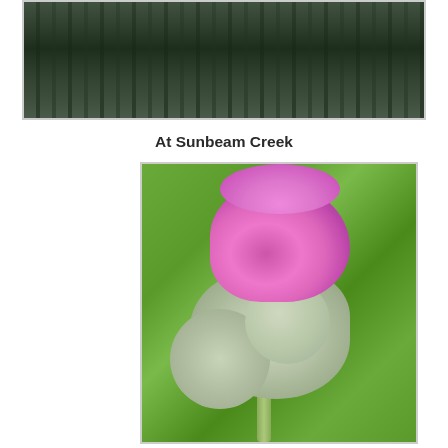[Figure (photo): Aerial or forest landscape photo showing dense coniferous trees viewed through what appears to be a rainy or misty window, dark green and moody]
At Sunbeam Creek
[Figure (photo): Close-up photograph of a thistle plant with a blooming purple/pink flower head at the top and multiple silvery-green woolly buds below, set against a blurred green background]